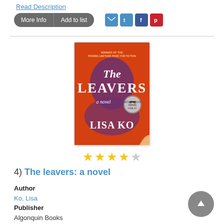Read Description
More Info | Add to list
[Figure (illustration): Book cover of 'The Leavers: a novel' by Lisa Ko. Orange background with stylized face silhouette in purple/dark tones. Title in white handwritten font. Winner of the PEN/Bellwether Prize for Fiction. National Book Award Finalist seal.]
4 out of 5 stars rating
4)  The leavers: a novel
Author
Ko, Lisa
Publisher
Algonquin Books
Pub. Date
2017